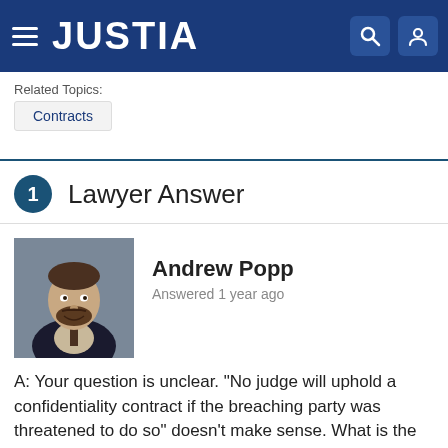JUSTIA
Related Topics:
Contracts
1 Lawyer Answer
[Figure (photo): Headshot of Andrew Popp, a man in a suit with a beard and mustache, smiling, against a gray background]
Andrew Popp
Answered 1 year ago
A: Your question is unclear. "No judge will uphold a confidentiality contract if the breaching party was threatened to do so" doesn't make sense. What is the